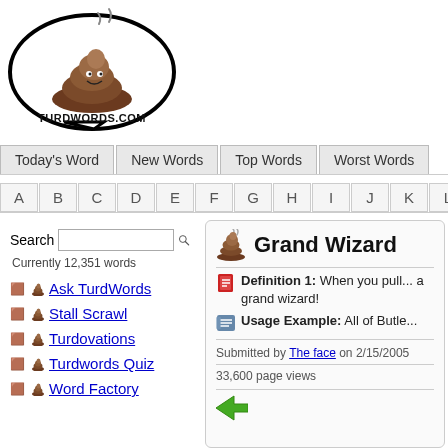[Figure (logo): TurdWords.com logo: oval speech bubble containing cartoon poop pile with steam, text 'TURDWORDS.COM' below]
Today's Word | New Words | Top Words | Worst Words
A B C D E F G H I J K L M N O P
Search  Currently 12,351 words
Ask TurdWords
Stall Scrawl
Turdovations
Turdwords Quiz
Word Factory
Grand Wizard
Definition 1: When you pull... a grand wizard!
Usage Example: All of Butle...
Submitted by The face on 2/15/2005
33,600 page views